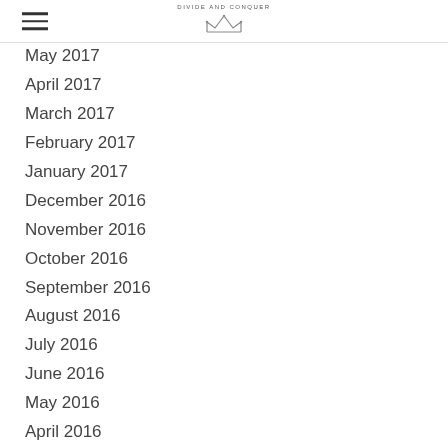DIVIDE AND CONQUER
May 2017
April 2017
March 2017
February 2017
January 2017
December 2016
November 2016
October 2016
September 2016
August 2016
July 2016
June 2016
May 2016
April 2016
March 2016
February 2016
January 2016
December 2015